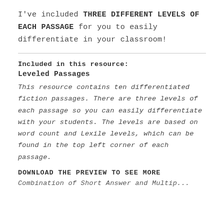I've included THREE DIFFERENT LEVELS OF EACH PASSAGE for you to easily differentiate in your classroom!
Included in this resource:
Leveled Passages
This resource contains ten differentiated fiction passages. There are three levels of each passage so you can easily differentiate with your students. The levels are based on word count and Lexile levels, which can be found in the top left corner of each passage.
DOWNLOAD THE PREVIEW TO SEE MORE
Combination of Short Answer and Multiple...